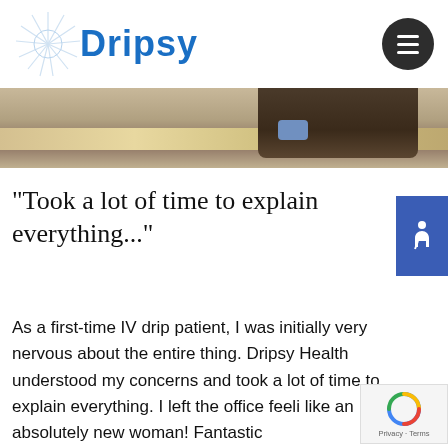Dripsy logo and navigation
[Figure (photo): Cropped photo showing a person's lower body at a table, wooden floor/table surface visible, casual clothing]
“Took a lot of time to explain everything...”
As a first-time IV drip patient, I was initially very nervous about the entire thing. Dripsy Health understood my concerns and took a lot of time to explain everything. I left the office feeli like an absolutely new woman! Fantastic